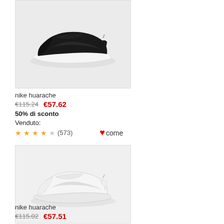[Figure (photo): Black Nike Huarache sneaker on white/light grey background]
nike huarache
€115.24   €57.62
50% di sconto
Venduto:
★★★★☆ (573)   ❤ come
[Figure (photo): White Nike Huarache sneaker on light grey background]
nike huarache
€115.02   €57.51
50% di sconto